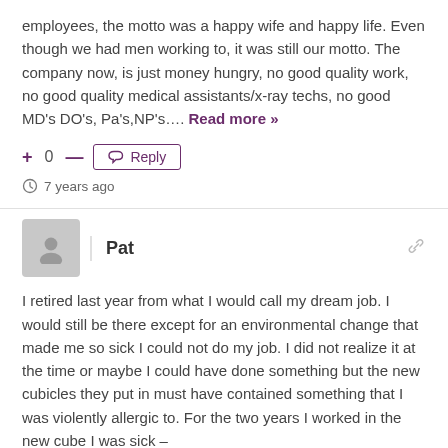employees, the motto was a happy wife and happy life. Even though we had men working to, it was still our motto. The company now, is just money hungry, no good quality work, no good quality medical assistants/x-ray techs, no good MD's DO's, Pa's,NP's…. Read more »
+ 0 −  Reply
7 years ago
Pat
I retired last year from what I would call my dream job. I would still be there except for an environmental change that made me so sick I could not do my job. I did not realize it at the time or maybe I could have done something but the new cubicles they put in must have contained something that I was violently allergic to. For the two years I worked in the new cube I was sick –